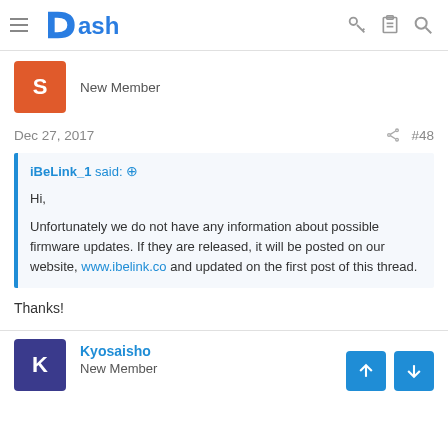Dash — Navigation header with hamburger menu, Dash logo, key icon, clipboard icon, search icon
New Member
Dec 27, 2017   #48
iBeLink_1 said: ↑

Hi,

Unfortunately we do not have any information about possible firmware updates. If they are released, it will be posted on our website, www.ibelink.co and updated on the first post of this thread.
Thanks!
Kyosaisho
New Member